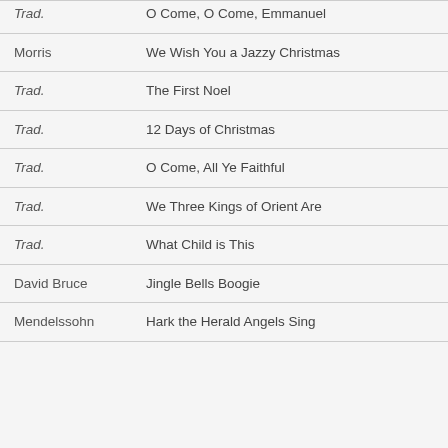| Composer | Title |
| --- | --- |
| Trad. | O Come, O Come, Emmanuel |
| Morris | We Wish You a Jazzy Christmas |
| Trad. | The First Noel |
| Trad. | 12 Days of Christmas |
| Trad. | O Come, All Ye Faithful |
| Trad. | We Three Kings of Orient Are |
| Trad. | What Child is This |
| David Bruce | Jingle Bells Boogie |
| Mendelssohn | Hark the Herald Angels Sing |